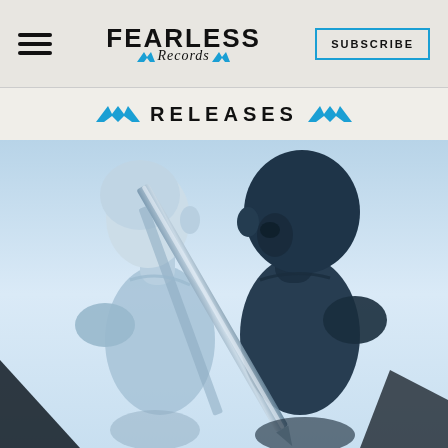Fearless Records — SUBSCRIBE
RELEASES
[Figure (photo): Album cover art showing two dark stylized humanoid figures facing each other with a diagonal blade or sword between them, rendered in blue monochrome tones]